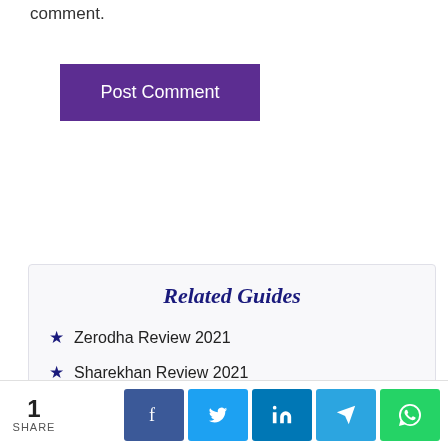comment.
Post Comment
Related Guides
Zerodha Review 2021
Sharekhan Review 2021
Upstox Review 2021
ICICIDirect Review 2021
1 SHARE | Facebook | Twitter | LinkedIn | Telegram | WhatsApp